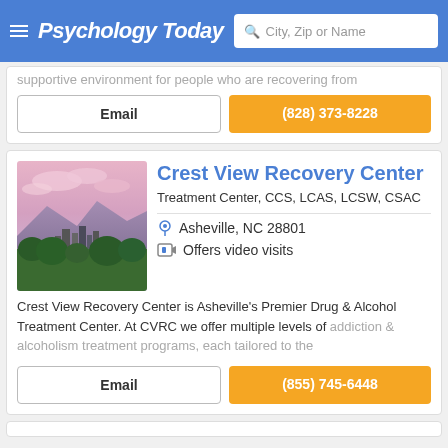Psychology Today — City, Zip or Name search
supportive environment for people who are recovering from
Email | (828) 373-8228
Crest View Recovery Center
Treatment Center, CCS, LCAS, LCSW, CSAC
Asheville, NC 28801
Offers video visits
Crest View Recovery Center is Asheville's Premier Drug & Alcohol Treatment Center. At CVRC we offer multiple levels of addiction & alcoholism treatment programs, each tailored to the
Email | (855) 745-6448